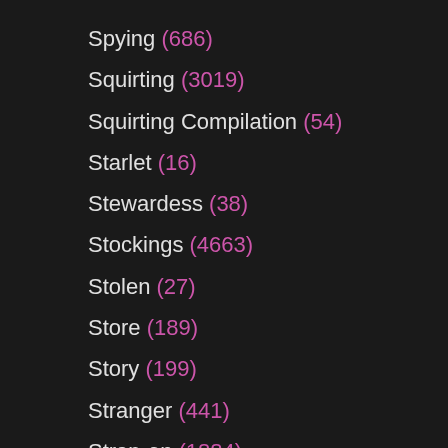Spying (686)
Squirting (3019)
Squirting Compilation (54)
Starlet (16)
Stewardess (38)
Stockings (4663)
Stolen (27)
Store (189)
Story (199)
Stranger (441)
Strap-on (1884)
Strap-on Femdom (921)
Strap-on Lesbian (417)
Strap-on Shemale (9)
Street (516)